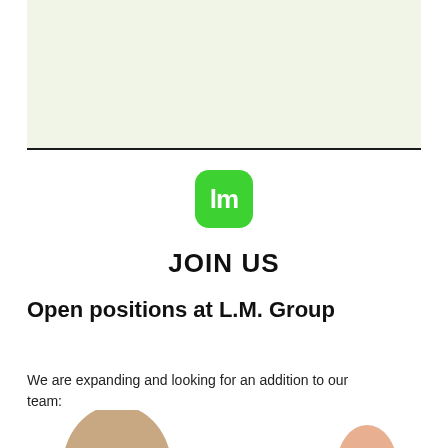[Figure (other): Light green rectangular banner at the top of the page with a dark bottom border line]
[Figure (logo): L.M. Group logo: green rounded square with white interlocking letters lm]
JOIN US
Open positions at L.M. Group
We are expanding and looking for an addition to our team:
[Figure (photo): Partial view of a person at the bottom of the page]